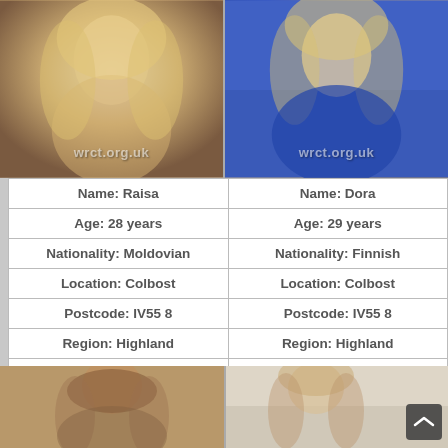[Figure (photo): Photo of Raisa, blonde woman on white fur, with watermark wrct.org.uk]
[Figure (photo): Photo of Dora, blonde woman in blue top, with watermark wrct.org.uk]
| Name: Raisa | Name: Dora |
| Age: 28 years | Age: 29 years |
| Nationality: Moldovian | Nationality: Finnish |
| Location: Colbost | Location: Colbost |
| Postcode: IV55 8 | Postcode: IV55 8 |
| Region: Highland | Region: Highland |
| Service: Outcall Only | Service: Incall & Outcall |
| Price from: £90 | Price from: £80 |
[Figure (photo): Photo of dark-haired woman, bottom left]
[Figure (photo): Photo of blonde/auburn woman, bottom right]